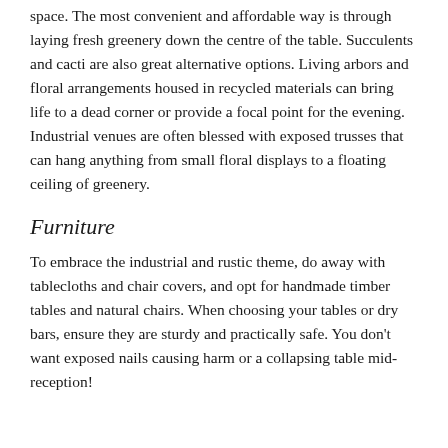space. The most convenient and affordable way is through laying fresh greenery down the centre of the table. Succulents and cacti are also great alternative options. Living arbors and floral arrangements housed in recycled materials can bring life to a dead corner or provide a focal point for the evening. Industrial venues are often blessed with exposed trusses that can hang anything from small floral displays to a floating ceiling of greenery.
Furniture
To embrace the industrial and rustic theme, do away with tablecloths and chair covers, and opt for handmade timber tables and natural chairs. When choosing your tables or dry bars, ensure they are sturdy and practically safe. You don't want exposed nails causing harm or a collapsing table mid-reception!